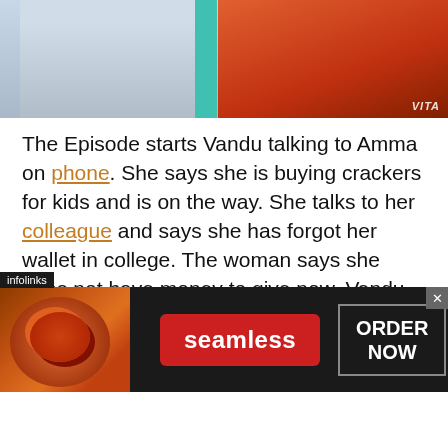[Figure (photo): Top portion of a photo showing two people, one in a red/orange jacket on the right and one in lighter clothing on the left, with a teal element between them. VITA watermark visible.]
The Episode starts Vandu talking to Amma on phone. She says she is buying crackers for kids and is on the way. She talks to her colleague and says she has forgot her wallet in college. The woman says she does not have money to give now. Vandu says she will get the things tomorrow. Suraj comes and says I will pay the bill. Vandu refuses to take his help. Suraj says I m not so bad, you can return me money later. Vandu says no, I can't take money from you. Suraj checks the bill, and says its big amount, you can buy crackers from some other shop, where you will get discount, its
[Figure (photo): Advertisement banner for Seamless food ordering service, featuring pizza image on left, red Seamless button in center, and ORDER NOW button on right. Infolinks badge visible.]